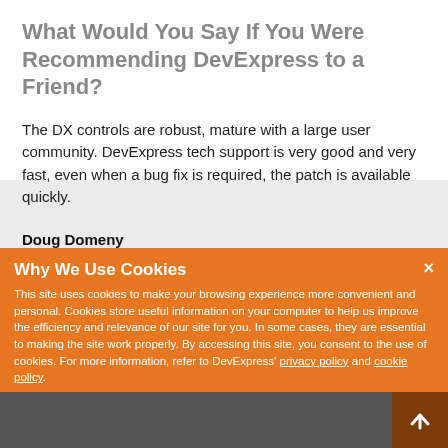What Would You Say If You Were Recommending DevExpress to a Friend?
The DX controls are robust, mature with a large user community. DevExpress tech support is very good and very fast, even when a bug fix is required, the patch is available quickly.
Doug Domeny
[Figure (logo): Newforma company logo with circular arc graphic element]
Why We Use Cookies
This site uses cookies to make your browsing experience more convenient and personal. Cookies store useful information on your computer to help us improve the efficiency and relevance of our site for you. In some cases, they are essential to making the site work properly. By accessing this site, you consent to the use of cookies. For more information, refer to DevExpress' privacy policy and cookie policy.
I UNDERSTAND